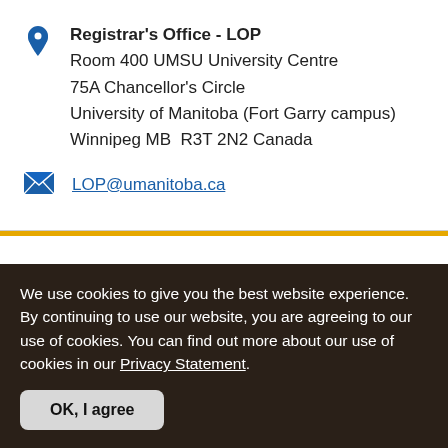Registrar's Office - LOP
Room 400 UMSU University Centre
75A Chancellor's Circle
University of Manitoba (Fort Garry campus)
Winnipeg MB  R3T 2N2 Canada
LOP@umanitoba.ca
We use cookies to give you the best website experience. By continuing to use our website, you are agreeing to our use of cookies. You can find out more about our use of cookies in our Privacy Statement.
OK, I agree